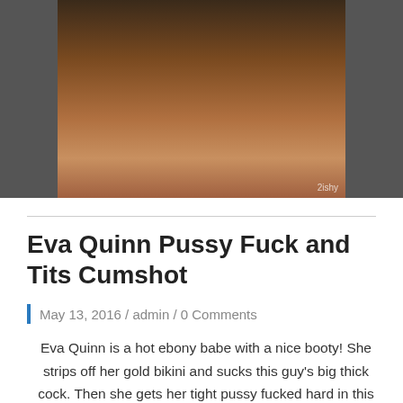[Figure (photo): Partial photo of a person leaning over a wooden table, dark background, with a small watermark '2ishy' in the bottom right corner.]
Eva Quinn Pussy Fuck and Tits Cumshot
May 13, 2016 / admin / 0 Comments
Eva Quinn is a hot ebony babe with a nice booty! She strips off her gold bikini and sucks this guy's big thick cock. Then she gets her tight pussy fucked hard in this hot hardcore video!  Download the amazing full HD